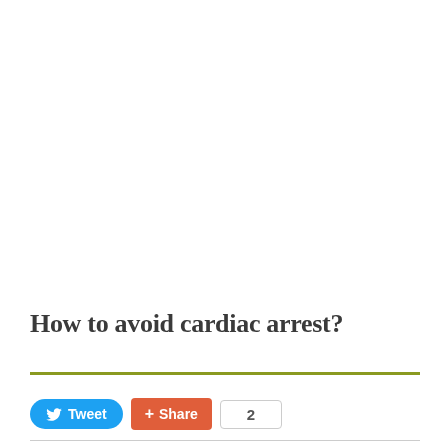How to avoid cardiac arrest?
Tweet | Share | 2